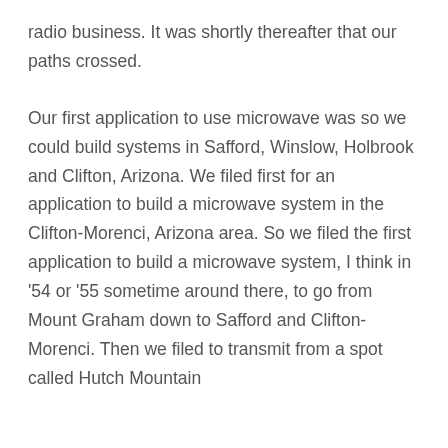radio business. It was shortly thereafter that our paths crossed.
Our first application to use microwave was so we could build systems in Safford, Winslow, Holbrook and Clifton, Arizona. We filed first for an application to build a microwave system in the Clifton-Morenci, Arizona area. So we filed the first application to build a microwave system, I think in '54 or '55 sometime around there, to go from Mount Graham down to Safford and Clifton-Morenci. Then we filed to transmit from a spot called Hutch Mountain